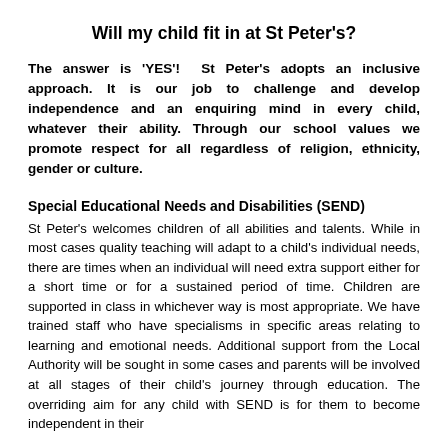Will my child fit in at St Peter's?
The answer is 'YES'!  St Peter's adopts an inclusive approach. It is our job to challenge and develop independence and an enquiring mind in every child, whatever their ability. Through our school values we promote respect for all regardless of religion, ethnicity, gender or culture.
Special Educational Needs and Disabilities (SEND)
St Peter's welcomes children of all abilities and talents. While in most cases quality teaching will adapt to a child's individual needs, there are times when an individual will need extra support either for a short time or for a sustained period of time. Children are supported in class in whichever way is most appropriate. We have trained staff who have specialisms in specific areas relating to learning and emotional needs. Additional support from the Local Authority will be sought in some cases and parents will be involved at all stages of their child's journey through education. The overriding aim for any child with SEND is for them to become independent in their